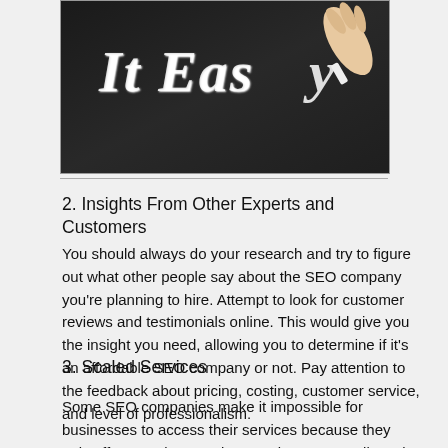[Figure (photo): Chalkboard with 'It Easy' written in chalk, with a hand holding chalk visible at upper right]
2. Insights From Other Experts and Customers
You should always do your research and try to figure out what other people say about the SEO company you're planning to hire. Attempt to look for customer reviews and testimonials online. This would give you the insight you need, allowing you to determine if it's an affordable SEO company or not. Pay attention to the feedback about pricing, costing, customer service, and level of professionalism.
3. Scaled Services
Some SEO companies make it impossible for businesses to access their services because they only offer complete services, and you're not allowed to pick individually. This means you have no choice.